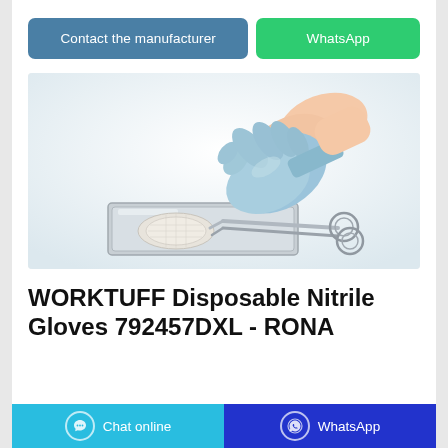Contact the manufacturer
WhatsApp
[Figure (photo): A hand wearing a blue nitrile glove holding surgical forceps/tongs over a stainless steel tray with gauze, on a white background.]
WORKTUFF Disposable Nitrile Gloves 792457DXL - RONA
Chat online
WhatsApp